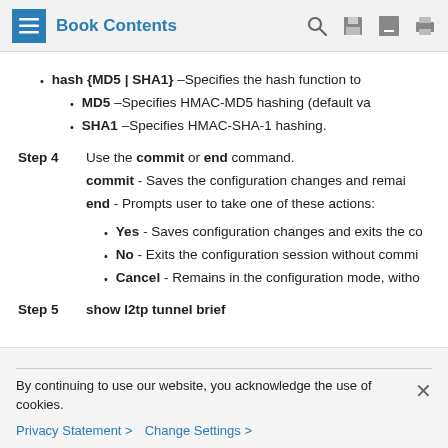Book Contents
hash {MD5 | SHA1} –Specifies the hash function to
MD5 –Specifies HMAC-MD5 hashing (default va
SHA1 –Specifies HMAC-SHA-1 hashing.
Step 4 — Use the commit or end command. commit - Saves the configuration changes and remai. end - Prompts user to take one of these actions:
Yes - Saves configuration changes and exits the co
No - Exits the configuration session without commi
Cancel - Remains in the configuration mode, witho
Step 5 — show l2tp tunnel brief
By continuing to use our website, you acknowledge the use of cookies.
Privacy Statement > Change Settings >